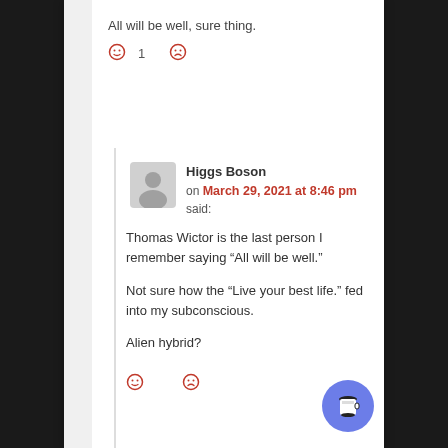All will be well, sure thing.
☺ 1  ☹
Higgs Boson on March 29, 2021 at 8:46 pm said:
Thomas Wictor is the last person I remember saying “All will be well.”
Not sure how the “Live your best life.” fed into my subconscious.
Alien hybrid?
☺  ☹